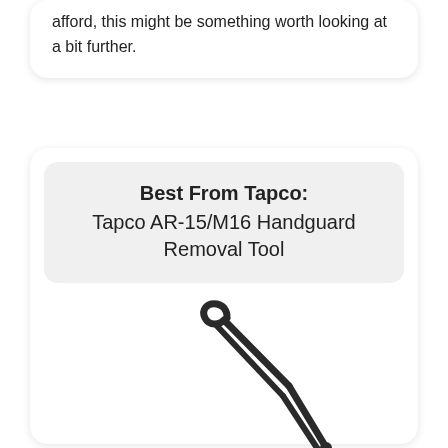afford, this might be something worth looking at a bit further.
Best From Tapco: Tapco AR-15/M16 Handguard Removal Tool
[Figure (photo): A Tapco AR-15/M16 handguard removal tool — a metal tool with two prongs and a curved hook end, shown on a white background.]